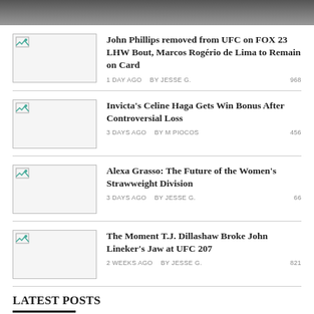[Figure (photo): Top banner photo, partially visible, dark tones]
John Phillips removed from UFC on FOX 23 LHW Bout, Marcos Rogério de Lima to Remain on Card — 1 DAY AGO BY JESSE G. 968
Invicta's Celine Haga Gets Win Bonus After Controversial Loss — 3 DAYS AGO BY M PIOCOS 456
Alexa Grasso: The Future of the Women's Strawweight Division — 3 DAYS AGO BY JESSE G. 66
The Moment T.J. Dillashaw Broke John Lineker's Jaw at UFC 207 — 2 WEEKS AGO BY JESSE G. 821
LATEST POSTS
Glory Kickboxing 37 Weigh-ins: Robin van ...